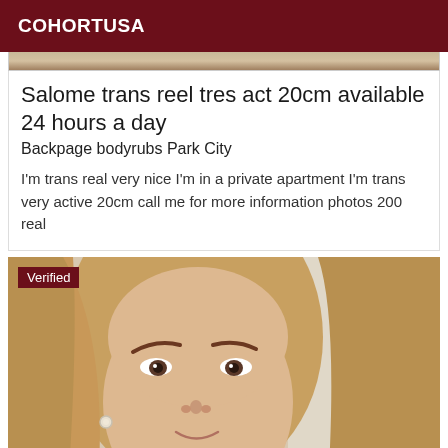COHORTUSA
[Figure (photo): Cropped top portion of a person's photo visible as a narrow strip at top of listing card]
Salome trans reel tres act 20cm available 24 hours a day
Backpage bodyrubs Park City
I'm trans real very nice I'm in a private apartment I'm trans very active 20cm call me for more information photos 200 real
[Figure (photo): Portrait photo of a person with blonde straight hair, styled makeup, hoop earring, facing camera with neutral expression. Dark maroon 'Verified' badge overlaid top-left.]